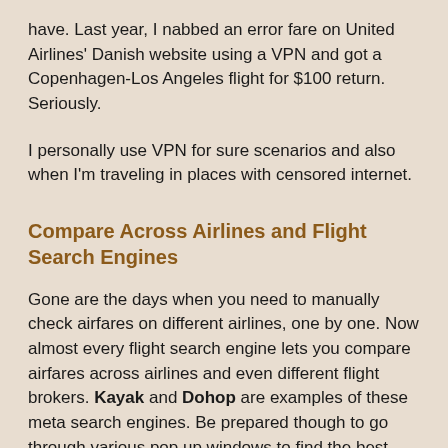have. Last year, I nabbed an error fare on United Airlines' Danish website using a VPN and got a Copenhagen-Los Angeles flight for $100 return. Seriously.
I personally use VPN for sure scenarios and also when I'm traveling in places with censored internet.
Compare Across Airlines and Flight Search Engines
Gone are the days when you need to manually check airfares on different airlines, one by one. Now almost every flight search engine lets you compare airfares across airlines and even different flight brokers. Kayak and Dohop are examples of these meta search engines. Be prepared though to go through various pop up windows to find the best deal.
Here’s a list of the best search engines in my opinion: